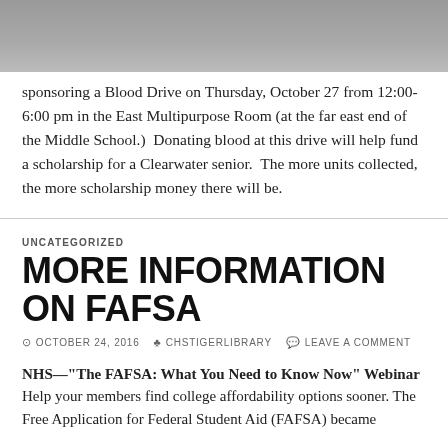[Figure (photo): Partial photo visible at top of page, showing people in what appears to be a group setting.]
sponsoring a Blood Drive on Thursday, October 27 from 12:00-6:00 pm in the East Multipurpose Room (at the far east end of the Middle School.)  Donating blood at this drive will help fund a scholarship for a Clearwater senior.  The more units collected, the more scholarship money there will be.
UNCATEGORIZED
MORE INFORMATION ON FAFSA
OCTOBER 24, 2016   CHSTIGERLIBRARY   LEAVE A COMMENT
NHS—"The FAFSA: What You Need to Know Now" Webinar Help your members find college affordability options sooner. The Free Application for Federal Student Aid (FAFSA) became